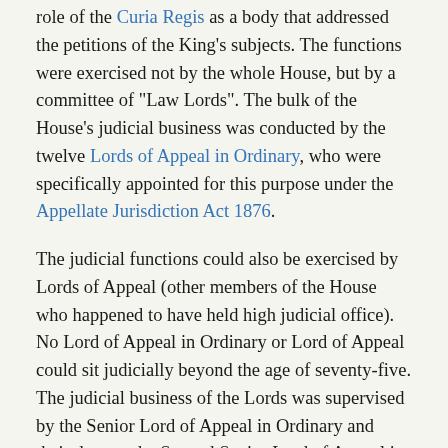role of the Curia Regis as a body that addressed the petitions of the King's subjects. The functions were exercised not by the whole House, but by a committee of "Law Lords". The bulk of the House's judicial business was conducted by the twelve Lords of Appeal in Ordinary, who were specifically appointed for this purpose under the Appellate Jurisdiction Act 1876.
The judicial functions could also be exercised by Lords of Appeal (other members of the House who happened to have held high judicial office). No Lord of Appeal in Ordinary or Lord of Appeal could sit judicially beyond the age of seventy-five. The judicial business of the Lords was supervised by the Senior Lord of Appeal in Ordinary and their deputy, the Second Senior Lord of Appeal in Ordinary.
The jurisdiction of the House of Lords extended, in civil and in criminal cases, to appeals from the courts of England and Wales, and of Northern Ireland. From Scotland, appeals were possible only in civil cases: Scotland's High